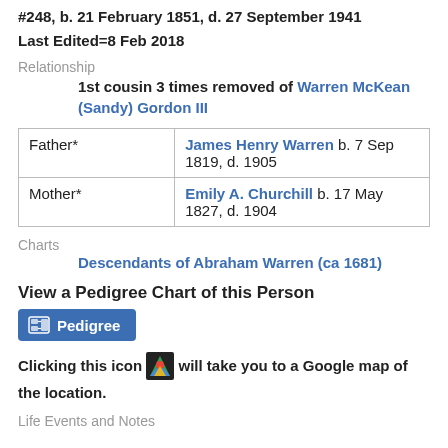#248, b. 21 February 1851, d. 27 September 1941
Last Edited=8 Feb 2018
Relationship
1st cousin 3 times removed of Warren McKean (Sandy) Gordon III
| Role | Person |
| --- | --- |
| Father* | James Henry Warren b. 7 Sep 1819, d. 1905 |
| Mother* | Emily A. Churchill b. 17 May 1827, d. 1904 |
Charts
Descendants of Abraham Warren (ca 1681)
View a Pedigree Chart of this Person
[Figure (other): Pedigree button]
Clicking this icon [Google Maps icon] will take you to a Google map of the location.
Life Events and Notes